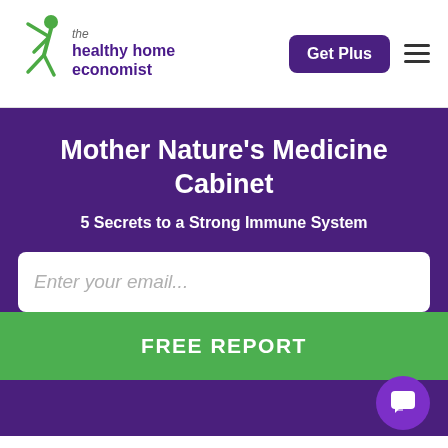the healthy home economist | Get Plus
Mother Nature's Medicine Cabinet
5 Secrets to a Strong Immune System
Enter your email...
FREE REPORT